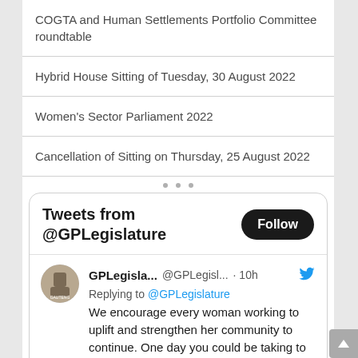COGTA and Human Settlements Portfolio Committee roundtable
Hybrid House Sitting of Tuesday, 30 August 2022
Women's Sector Parliament 2022
Cancellation of Sitting on Thursday, 25 August 2022
[Figure (screenshot): Twitter/X widget showing 'Tweets from @GPLegislature' with a Follow button, and a tweet from GPLegisla... @GPLegisl... · 10h replying to @GPLegislature: 'We encourage every woman working to uplift and strengthen her community to continue. One day you could be taking to the Vita Basadi stage']